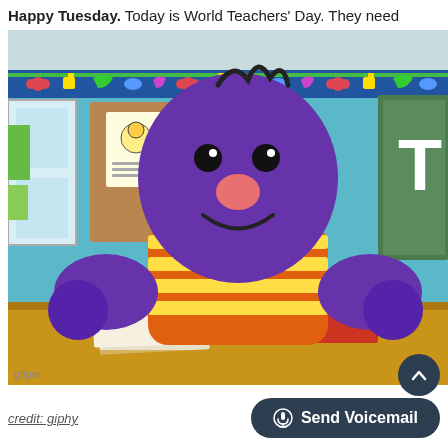Happy Tuesday. Today is World Teachers' Day. They need...
[Figure (photo): A purple puppet/muppet character wearing a red and yellow striped shirt, sitting at a classroom desk with papers on it. The classroom has a teal/blue wall, a decorative border with colorful characters, a corkboard, and a green chalkboard visible on the right. The puppet has a pink nose and dark eyes.]
credit: giphy
Send Voicemail